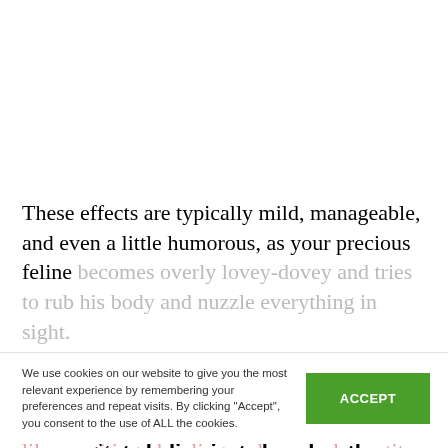These effects are typically mild, manageable, and even a little humorous, as your precious feline becomes overly lovey-dovey and tries to rub his body and nuzzle everything in sight.
We use cookies on our website to give you the most relevant experience by remembering your preferences and repeat visits. By clicking "Accept", you consent to the use of ALL the cookies.
ts can be more pronounced leading some cats to become more agitated, disoriented, and restless. Rarely, some kitties may also exhibit gastrointestinal signs like vomiting, drooling, a decreased appetite, and an